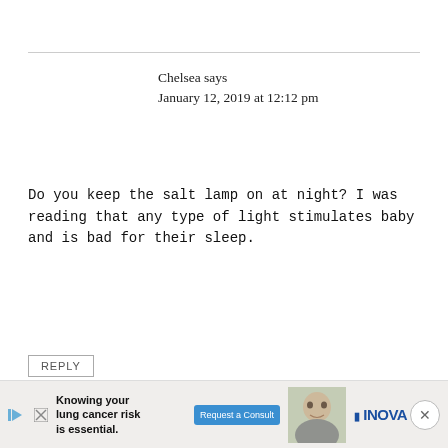Chelsea says
January 12, 2019 at 12:12 pm
Do you keep the salt lamp on at night? I was reading that any type of light stimulates baby and is bad for their sleep.
REPLY
Julie says
January 12, 2019 at 3:07 pm
[Figure (photo): Advertisement banner: Knowing your lung cancer risk is essential. Request a Consult. INOVA logo with photo of older man.]